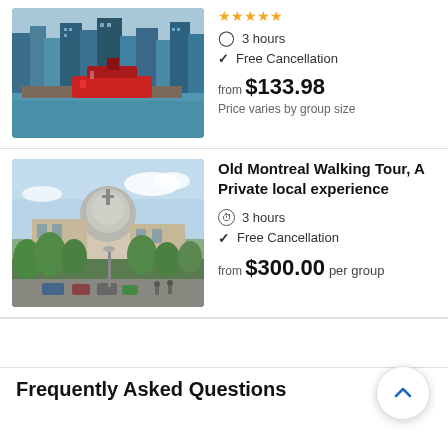[Figure (photo): Harbor city skyline photo with red ship docked at waterfront, top listing card]
3 hours
Free Cancellation
from $133.98
Price varies by group size
[Figure (photo): Old Montreal street scene with silver dome building and tree-lined street]
Old Montreal Walking Tour, A Private local experience
3 hours
Free Cancellation
from $300.00 per group
Frequently Asked Questions